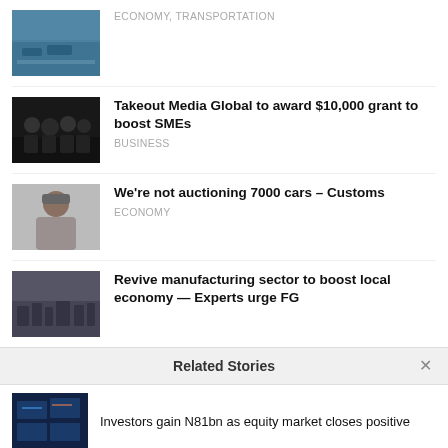[Figure (photo): Aerial view of a waterway with boats and docks]
ECONOMY, TRANSPORTATION
[Figure (photo): Group of people in dark clothing]
Takeout Media Global to award $10,000 grant to boost SMEs
BUSINESS
[Figure (photo): Man wearing traditional cap, seated]
We're not auctioning 7000 cars – Customs
ECONOMY
[Figure (photo): Factory manufacturing floor]
Revive manufacturing sector to boost local economy — Experts urge FG
Related Stories
[Figure (photo): Stock market display boards]
Investors gain N81bn as equity market closes positive
[Figure (photo): Trading screen or financial display]
NSE's Trading Indices Remain Upbeat By 0.13%